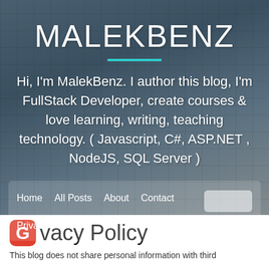MALEKBENZ
Hi, I'm MalekBenz. I author this blog, I'm FullStack Developer, create courses & love learning, writing, teaching technology. ( Javascript, C#, ASP.NET , NodeJS, SQL Server )
Home
All Posts
About
Contact
Privacy
Privacy Policy
This blog does not share personal information with third